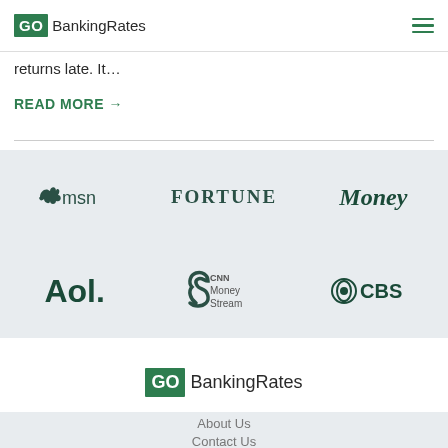GOBankingRates
returns late. It…
READ MORE →
[Figure (logo): Media partner logos: msn, FORTUNE, Money, Aol., CNN Money Stream, CBS]
[Figure (logo): GOBankingRates footer logo]
About Us
Contact Us